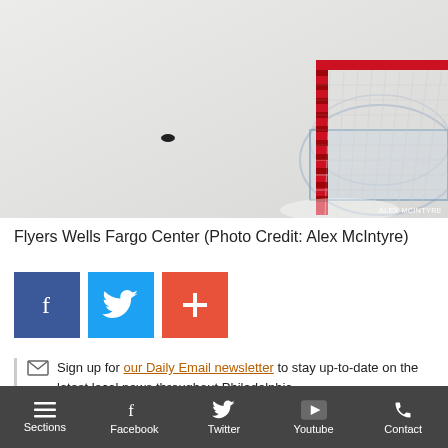[Figure (photo): Hockey rink ice surface with a puck in the foreground and a goal net with red post and white netting visible on the right side. Photo credit: Alex McIntyre.]
Flyers Wells Fargo Center (Photo Credit: Alex McIntyre)
[Figure (infographic): Three social share buttons: Facebook (blue), Twitter (light blue), and a red plus/share button]
Sign up for our Daily Email newsletter to stay up-to-date on the latest local news throughout Philadelphia.
Sections | Facebook | Twitter | Youtube | Contact